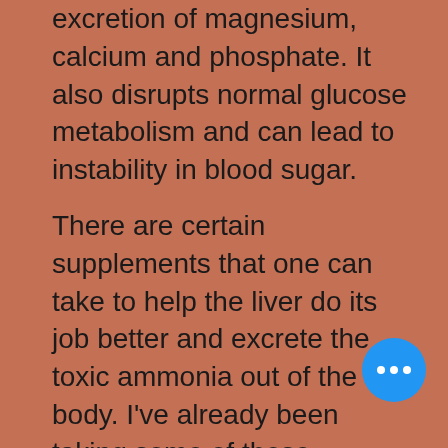excretion of magnesium, calcium and phosphate. It also disrupts normal glucose metabolism and can lead to instability in blood sugar.

There are certain supplements that one can take to help the liver do its job better and excrete the toxic ammonia out of the body. I've already been taking some of these supplements! The trace mineral molybdenum is one of them. Dandelion root is another! Supposedly the best way to address sulfur sensitivities is with high dosages of buffered vitamin c w/ bioflavanoids, dandelion and pa... These are low-sulfur supplemen... that support the liver's detoxification